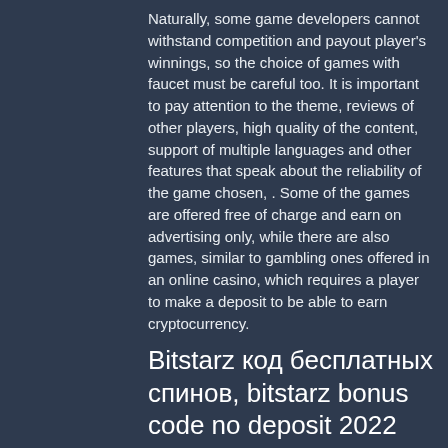Naturally, some game developers cannot withstand competition and payout player's winnings, so the choice of games with faucet must be careful too. It is important to pay attention to the theme, reviews of other players, high quality of the content, support of multiple languages and other features that speak about the reliability of the game chosen, . Some of the games are offered free of charge and earn on advertising only, while there are also games, similar to gambling ones offered in an online casino, which requires a player to make a deposit to be able to earn cryptocurrency.
Bitstarz код бесплатных спинов, bitstarz bonus code no deposit 2022
Here are a number of advantages with betting crypto. The first is that you are able to